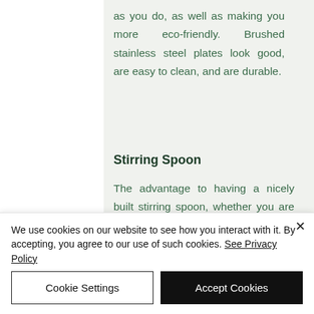as you do, as well as making you more eco-friendly. Brushed stainless steel plates look good, are easy to clean, and are durable.
Stirring Spoon
The advantage to having a nicely built stirring spoon, whether you are making cocktails, coffee, or
We use cookies on our website to see how you interact with it. By accepting, you agree to our use of such cookies. See Privacy Policy